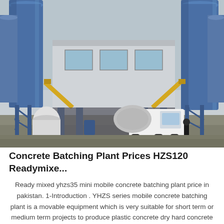[Figure (photo): Outdoor photo of a concrete batching plant facility showing large blue steel silos on both sides, a central white office/control building elevated on steel supports, conveyor belts in yellow, storage tanks, and a concrete mixer truck (white Foton brand) parked inside the structure. Workers visible near the truck. Ground is wet concrete/gravel.]
Concrete Batching Plant Prices HZS120 Readymixe...
Ready mixed yhzs35 mini mobile concrete batching plant price in pakistan. 1-Introduction . YHZS series mobile concrete batching plant is a movable equipment which is very suitable for short term or medium term projects to produce plastic concrete dry hard concrete etc.; YHZS series mobile concrete batching plant has two different structures ...